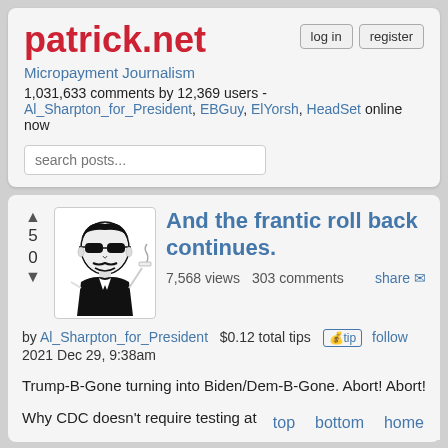patrick.net
Micropayment Journalism
1,031,633 comments by 12,369 users - Al_Sharpton_for_President, EBGuy, ElYorsh, HeadSet online now
And the frantic roll back continues.
7,568 views  303 comments  share
by Al_Sharpton_for_President  $0.12 total tips  tip  follow
2021 Dec 29, 9:38am
Trump-B-Gone turning into Biden/Dem-B-Gone. Abort! Abort!
Why CDC doesn't require testing at end of is
top   bottom   home